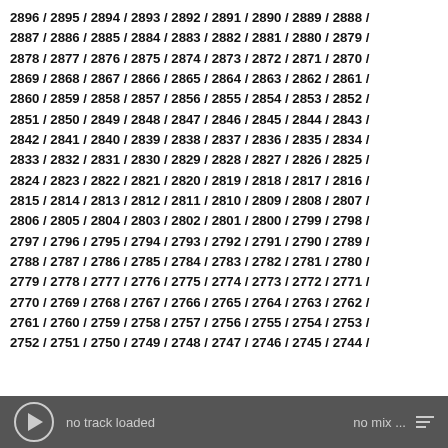2896 / 2895 / 2894 / 2893 / 2892 / 2891 / 2890 / 2889 / 2888 / 2887 / 2886 / 2885 / 2884 / 2883 / 2882 / 2881 / 2880 / 2879 / 2878 / 2877 / 2876 / 2875 / 2874 / 2873 / 2872 / 2871 / 2870 / 2869 / 2868 / 2867 / 2866 / 2865 / 2864 / 2863 / 2862 / 2861 / 2860 / 2859 / 2858 / 2857 / 2856 / 2855 / 2854 / 2853 / 2852 / 2851 / 2850 / 2849 / 2848 / 2847 / 2846 / 2845 / 2844 / 2843 / 2842 / 2841 / 2840 / 2839 / 2838 / 2837 / 2836 / 2835 / 2834 / 2833 / 2832 / 2831 / 2830 / 2829 / 2828 / 2827 / 2826 / 2825 / 2824 / 2823 / 2822 / 2821 / 2820 / 2819 / 2818 / 2817 / 2816 / 2815 / 2814 / 2813 / 2812 / 2811 / 2810 / 2809 / 2808 / 2807 / 2806 / 2805 / 2804 / 2803 / 2802 / 2801 / 2800 / 2799 / 2798 / 2797 / 2796 / 2795 / 2794 / 2793 / 2792 / 2791 / 2790 / 2789 / 2788 / 2787 / 2786 / 2785 / 2784 / 2783 / 2782 / 2781 / 2780 / 2779 / 2778 / 2777 / 2776 / 2775 / 2774 / 2773 / 2772 / 2771 / 2770 / 2769 / 2768 / 2767 / 2766 / 2765 / 2764 / 2763 / 2762 / 2761 / 2760 / 2759 / 2758 / 2757 / 2756 / 2755 / 2754 / 2753 / 2752 / 2751 / 2750 / 2749 / 2748 / 2747 / 2746 / 2745 / 2744 /
no track loaded    no mix ...